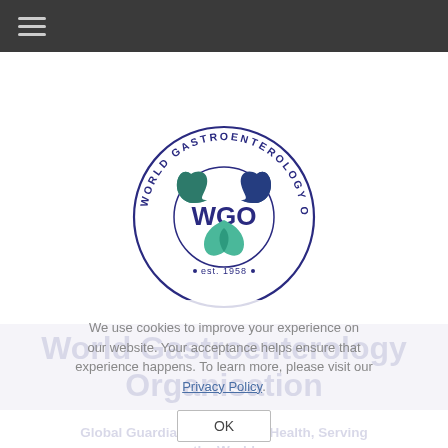[Figure (logo): World Gastroenterology Organisation circular logo with WGO text in center, three curved shapes in teal/blue/green forming a recycling-like symbol, text around ring reading 'WORLD GASTROENTEROLOGY ORGANISATION', 'est. 1958' at bottom]
World Gastroenterology Organisation
Global Guardian of Digestive Health, Serving the World
We use cookies to improve your experience on our website. Your acceptance helps ensure that experience happens. To learn more, please visit our Privacy Policy.
OK